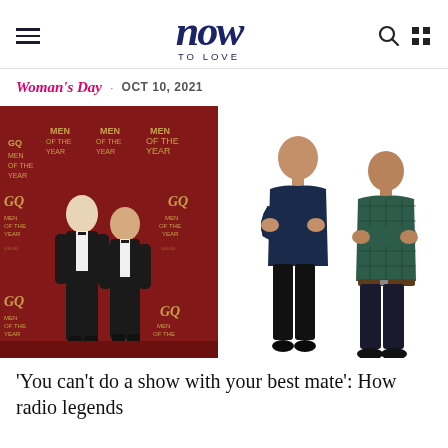now TO LOVE
Woman's Day · OCT 10, 2021
[Figure (photo): Two men in black tuxedos posing at a GQ Men of the Year event in front of a red carpet backdrop with GQ and Audi logos.]
[Figure (photo): Two men standing side by side with arms crossed, one in a navy t-shirt and black jeans, the other in a teal checked shirt and dark jeans, on a white background.]
'You can't do a show with your best mate': How radio legends